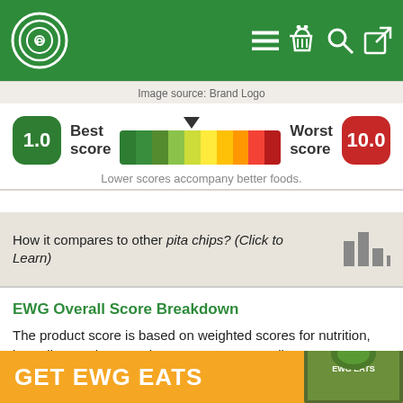[Figure (logo): EWG website header with green background, circular logo on left, navigation icons on right (hamburger menu, basket, search, share)]
Image source: Brand Logo
[Figure (infographic): Score scale from 1.0 (Best score, green badge) to 10.0 (Worst score, red badge), with a color gradient bar from green to red and a downward arrow indicator near the green end]
Lower scores accompany better foods.
How it compares to other pita chips? (Click to Learn)
EWG Overall Score Breakdown
The product score is based on weighted scores for nutrition, ingredient and processing concerns. Generally,
[Figure (screenshot): GET EWG EATS orange footer banner with book cover image on right]